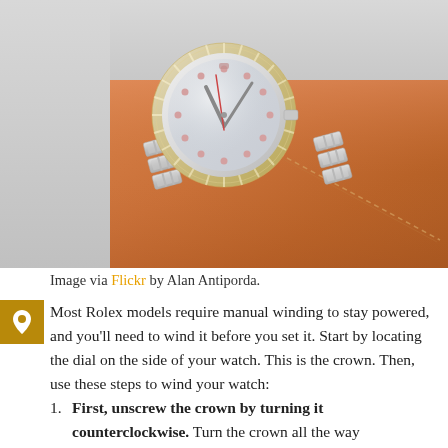[Figure (photo): A Rolex wristwatch with a silver/white mother-of-pearl dial and metal bracelet resting on an orange/tan leather surface.]
Image via Flickr by Alan Antiporda.
Most Rolex models require manual winding to stay powered, and you'll need to wind it before you set it. Start by locating the dial on the side of your watch. This is the crown. Then, use these steps to wind your watch:
First, unscrew the crown by turning it counterclockwise. Turn the crown all the way until it frees from the threads.